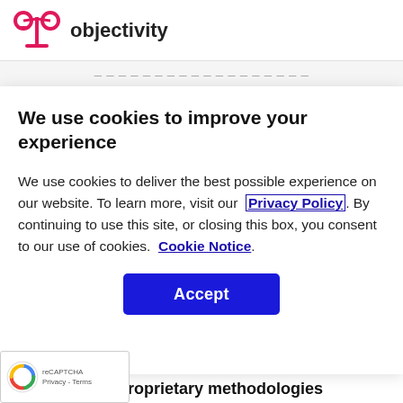objectivity
We use cookies to improve your experience
We use cookies to deliver the best possible experience on our website. To learn more, visit our Privacy Policy. By continuing to use this site, or closing this box, you consent to our use of cookies. Cookie Notice.
[Figure (other): Blue Accept button for cookie consent]
Proprietary methodologies
Our research practices and procedures distill large volumes
[Figure (other): Google reCAPTCHA badge with Privacy and Terms links]